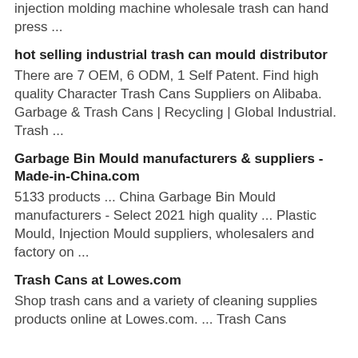injection molding machine wholesale trash can hand press ...
hot selling industrial trash can mould distributor
There are 7 OEM, 6 ODM, 1 Self Patent. Find high quality Character Trash Cans Suppliers on Alibaba. Garbage & Trash Cans | Recycling | Global Industrial. Trash ...
Garbage Bin Mould manufacturers & suppliers - Made-in-China.com
5133 products ... China Garbage Bin Mould manufacturers - Select 2021 high quality ... Plastic Mould, Injection Mould suppliers, wholesalers and factory on ...
Trash Cans at Lowes.com
Shop trash cans and a variety of cleaning supplies products online at Lowes.com. ... Trash Cans